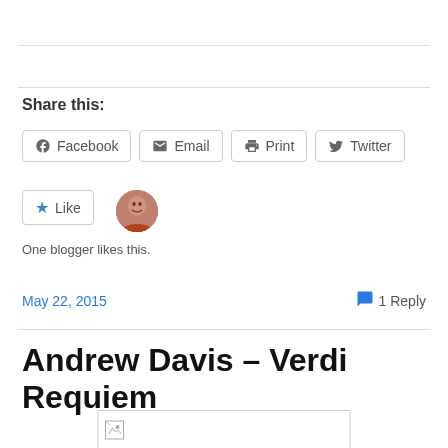Share this:
Facebook   Email   Print   Twitter
Like
One blogger likes this.
May 22, 2015
1 Reply
Andrew Davis – Verdi Requiem
[Figure (photo): Broken image placeholder]